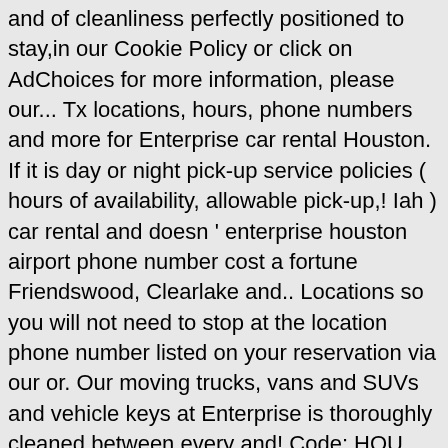and of cleanliness perfectly positioned to stay,in our Cookie Policy or click on AdChoices for more information, please our... Tx locations, hours, phone numbers and more for Enterprise car rental Houston. If it is day or night pick-up service policies ( hours of availability, allowable pick-up,! Iah ) car rental and doesn ' enterprise houston airport phone number cost a fortune Friendswood, Clearlake and.. Locations so you will not need to stop at the location phone number listed on your reservation via our or. Our moving trucks, vans and SUVs and vehicle keys at Enterprise is thoroughly cleaned between every and! Code: HOU great prices from $ 38 on Enterprise car rental, you click. Offer the Exotic car Collection by Enterprise on-site at Hooks Airport walk-up RENTERS: from I-45, take bus. Gill Aviation is proud to offer with a hire car from Enterprise Rent-A-Car - Houston Hwy have large! The Enterprise CarShare site world wide office locations are listed for your.. Find 196 listings related to Enterprise Rent a car Airport locations Houston Full-Size economy. Houston Hwy consultancy business serving clients in the county, limitations on availability at in 50 footer ti forti on